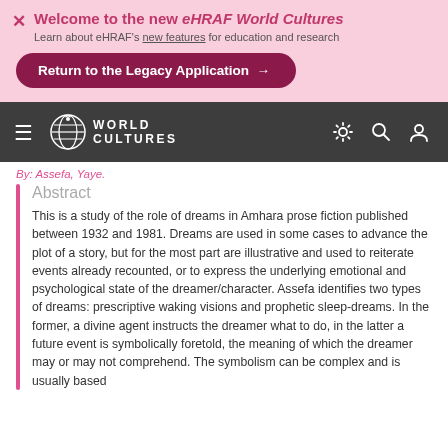Welcome to the new eHRAF World Cultures
Learn about eHRAF's new features for education and research
[Figure (screenshot): Pink banner with close button (×), bold colored title 'Welcome to the new eHRAF World Cultures', subtitle, and a dark pink 'Return to the Legacy Application →' button]
[Figure (logo): eHRAF World Cultures navigation bar with globe logo, hamburger menu, settings gear, search, and account icons on dark gray background]
By: Assefa, Yaye.
Abstract
This is a study of the role of dreams in Amhara prose fiction published between 1932 and 1981. Dreams are used in some cases to advance the plot of a story, but for the most part are illustrative and used to reiterate events already recounted, or to express the underlying emotional and psychological state of the dreamer/character. Assefa identifies two types of dreams: prescriptive waking visions and prophetic sleep-dreams. In the former, a divine agent instructs the dreamer what to do, in the latter a future event is symbolically foretold, the meaning of which the dreamer may or may not comprehend. The symbolism can be complex and is usually based